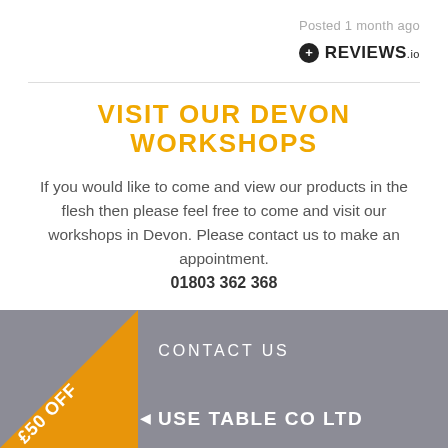Posted 1 month ago
[Figure (logo): REVIEWS.io logo with a circle-plus icon]
VISIT OUR DEVON WORKSHOPS
If you would like to come and view our products in the flesh then please feel free to come and visit our workshops in Devon. Please contact us to make an appointment. 01803 362 368
CONTACT US
£50 OFF
HOUSE TABLE CO LTD